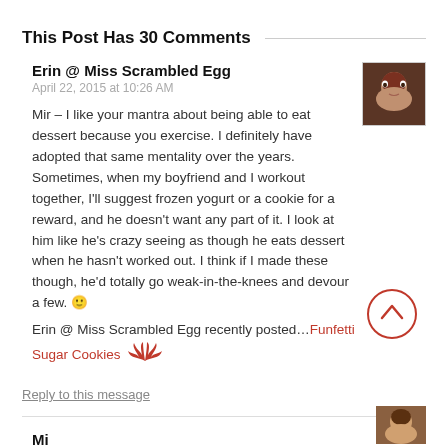This Post Has 30 Comments
Erin @ Miss Scrambled Egg
April 22, 2015 at 10:26 AM
Mir – I like your mantra about being able to eat dessert because you exercise. I definitely have adopted that same mentality over the years. Sometimes, when my boyfriend and I workout together, I'll suggest frozen yogurt or a cookie for a reward, and he doesn't want any part of it. I look at him like he's crazy seeing as though he eats dessert when he hasn't worked out. I think if I made these though, he'd totally go weak-in-the-knees and devour a few. 🙂 Erin @ Miss Scrambled Egg recently posted…Funfetti Sugar Cookies
Reply to this message
Mi